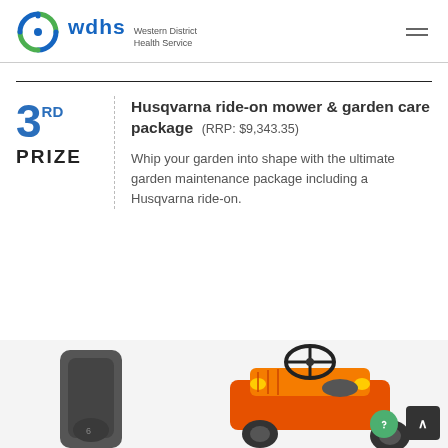wdhs Western District Health Service
3RD PRIZE
Husqvarna ride-on mower & garden care package (RRP: $9,343.35)
Whip your garden into shape with the ultimate garden maintenance package including a Husqvarna ride-on.
[Figure (photo): Partial view of a Husqvarna orange ride-on mower and a battery/product component at the bottom of the page]